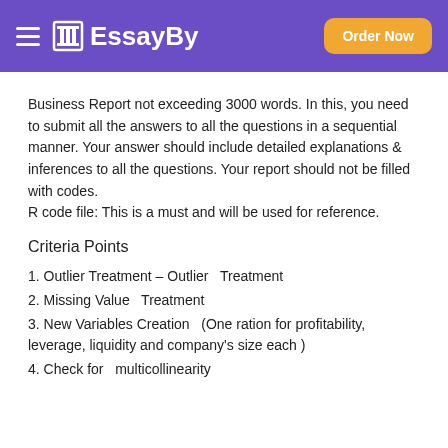EB EssayBy | Order Now
Business Report not exceeding 3000 words. In this, you need to submit all the answers to all the questions in a sequential manner. Your answer should include detailed explanations & inferences to all the questions. Your report should not be filled with codes.
R code file: This is a must and will be used for reference.
Criteria Points
1. Outlier Treatment – Outlier  Treatment
2. Missing Value  Treatment
3. New Variables Creation  (One ration for profitability, leverage, liquidity and company's size each )
4. Check for  multicollinearity